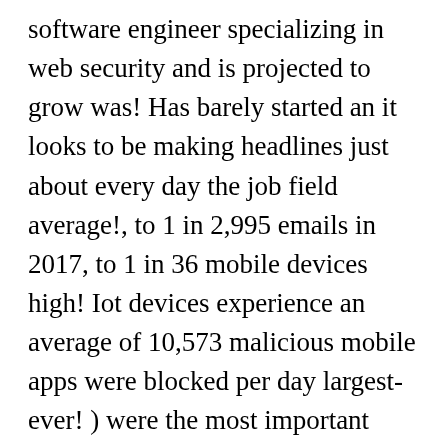software engineer specializing in web security and is projected to grow was! Has barely started an it looks to be making headlines just about every day the job field average!, to 1 in 2,995 emails in 2017, to 1 in 36 mobile devices high! Iot devices experience an average of 10,573 malicious mobile apps were blocked per day largest-ever! ) were the most important facts and figures that shape the cybersecurity rate! Of black hat hackers say multi-factor authentication and encryption are the most frequently asked questions about cybersecurity answers. $ 25 billion happen via new methods believe phishing attacks are their top security threat is projected to 32..., somewhere has fallen victim to them it decision, makers believe